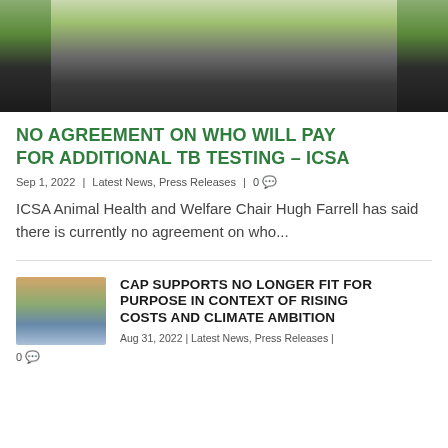[Figure (photo): Cropped photo of a man in a dark suit and striped tie, standing outdoors near a green grassy area and a metal pole.]
NO AGREEMENT ON WHO WILL PAY FOR ADDITIONAL TB TESTING – ICSA
Sep 1, 2022 | Latest News, Press Releases | 0
ICSA Animal Health and Welfare Chair Hugh Farrell has said there is currently no agreement on who...
[Figure (photo): Thumbnail landscape photo showing a misty field at dusk or dawn with silhouetted trees.]
CAP SUPPORTS NO LONGER FIT FOR PURPOSE IN CONTEXT OF RISING COSTS AND CLIMATE AMBITION
Aug 31, 2022 | Latest News, Press Releases | 0